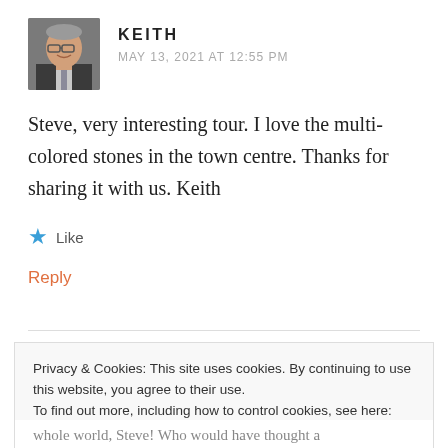[Figure (photo): Headshot photo of a smiling older man in a suit jacket, used as a comment avatar]
KEITH
MAY 13, 2021 AT 12:55 PM
Steve, very interesting tour. I love the multi-colored stones in the town centre. Thanks for sharing it with us. Keith
★ Like
Reply
Privacy & Cookies: This site uses cookies. By continuing to use this website, you agree to their use.
To find out more, including how to control cookies, see here: Our Cookie Policy
Close and accept
whole world, Steve! Who would have thought a